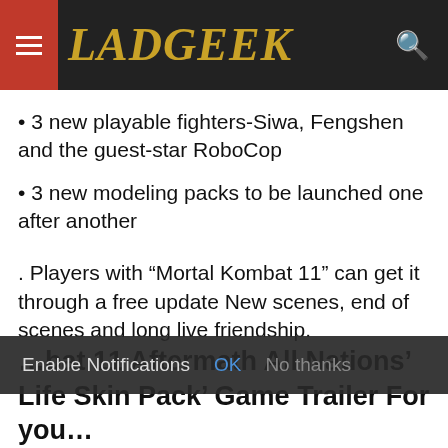LadGeek
3 new playable fighters-Siwa, Fengshen and the guest-star RoboCop
3 new modeling packs to be launched one after another
. Players with “Mortal Kombat 11” can get it through a free update New scenes, end of scenes and long live friendship.
Likewise, similarly, in the same vein, I enjoy this game because this always tells an interesting Story And Fun.
Enable Notifications  OK  No thanks
Mortal Kombat 11 Aftermath All Nations’ Life Skin Pack’ Game Trailer For you...